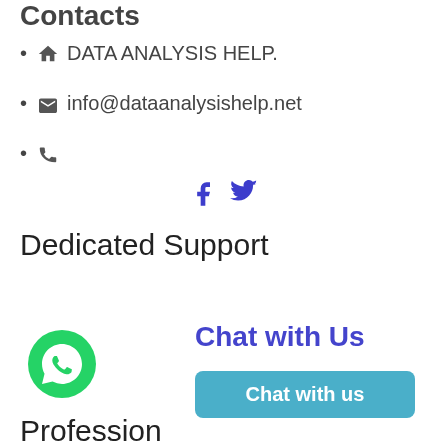Contacts
🏠 DATA ANALYSIS HELP.
✉ info@dataanalysishelp.net
📞
[Figure (other): Social media icons: Facebook and Twitter in blue/purple]
Dedicated Support
[Figure (other): WhatsApp green chat button icon]
Chat with Us
Chat with us
Profession